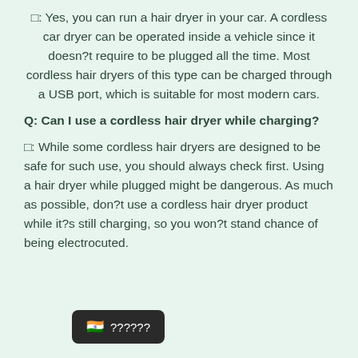□: Yes, you can run a hair dryer in your car. A cordless car dryer can be operated inside a vehicle since it doesn?t require to be plugged all the time. Most cordless hair dryers of this type can be charged through a USB port, which is suitable for most modern cars.
Q: Can I use a cordless hair dryer while charging?
□: While some cordless hair dryers are designed to be safe for such use, you should always check first. Using a hair dryer while plugged might be dangerous. As much as possible, don?t use a cordless hair dryer product while it?s still charging, so you won?t stand chance of being electrocuted.